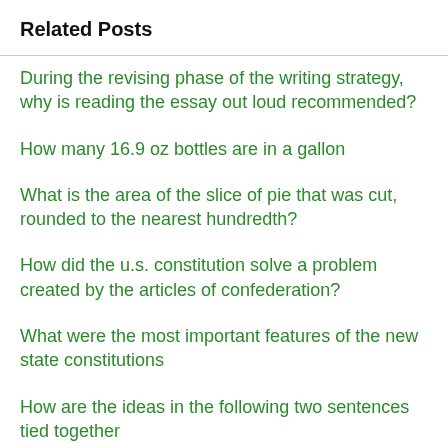Related Posts
During the revising phase of the writing strategy, why is reading the essay out loud recommended?
How many 16.9 oz bottles are in a gallon
What is the area of the slice of pie that was cut, rounded to the nearest hundredth?
How did the u.s. constitution solve a problem created by the articles of confederation?
What were the most important features of the new state constitutions
How are the ideas in the following two sentences tied together
Which terrestrial biome is called the "breadbasket of the world"?